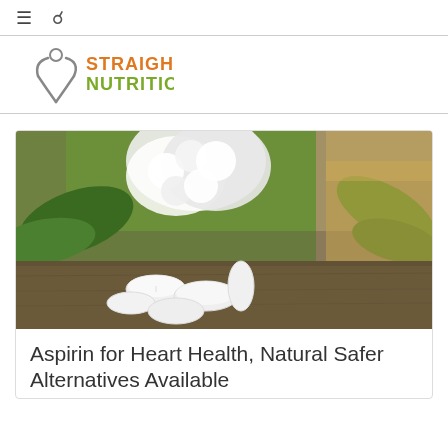≡  🔍
[Figure (logo): Straight Nutrition logo with stylized figure icon in gray and orange/green text]
[Figure (photo): Photo of white aspirin tablets on a wooden surface with white flowers and green leaves in the background]
Aspirin for Heart Health, Natural Safer Alternatives Available